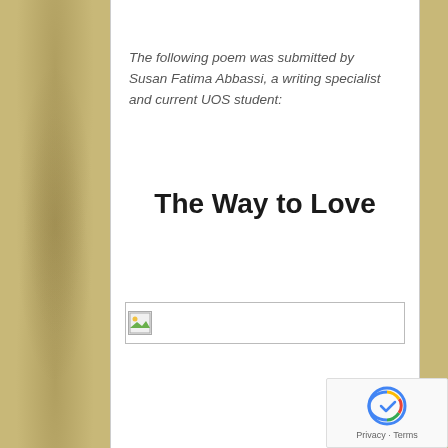The following poem was submitted by Susan Fatima Abbassi, a writing specialist and current UOS student:
The Way to Love
[Figure (photo): Broken image placeholder icon with green/landscape thumbnail]